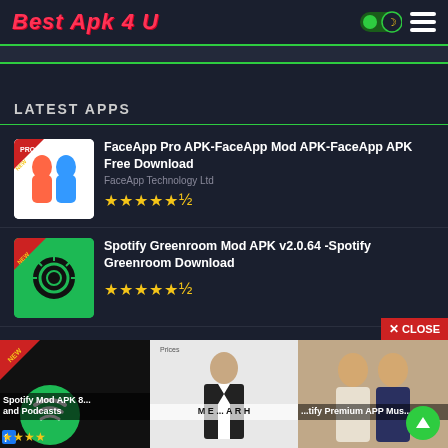Best Apk 4 U
LATEST APPS
FaceApp Pro APK-FaceApp Mod APK-FaceApp APK Free Download
FaceApp Technology Ltd
★★★★★½
Spotify Greenroom Mod APK v2.0.64 -Spotify Greenroom Download
★★★★★½
Spotify Mod APK 8... and Podcasts
...tify Premium APP Mus...
[Figure (screenshot): Website screenshot of Best Apk 4 U with dark theme, showing app listings with thumbnails, star ratings, and an ad overlay at the bottom with a close button]